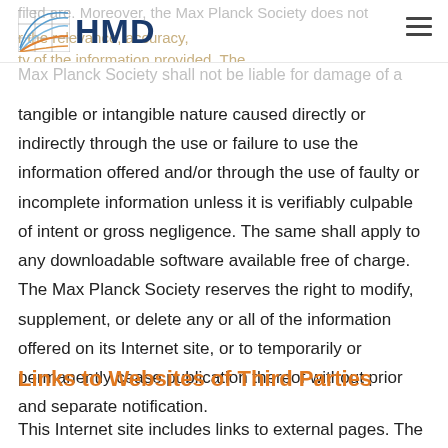HMD
tangible or intangible nature caused directly or indirectly through the use or failure to use the information offered and/or through the use of faulty or incomplete information unless it is verifiably culpable of intent or gross negligence. The same shall apply to any downloadable software available free of charge. The Max Planck Society reserves the right to modify, supplement, or delete any or all of the information offered on its Internet site, or to temporarily or permanently cease publication thereof without prior and separate notification.
Links to Websites of Third Parties
This Internet site includes links to external pages. The